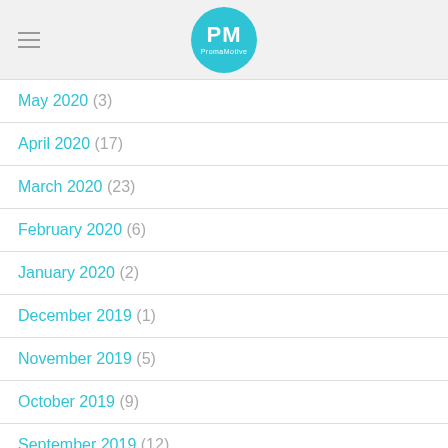PM PromaMotive
May 2020 (3)
April 2020 (17)
March 2020 (23)
February 2020 (6)
January 2020 (2)
December 2019 (1)
November 2019 (5)
October 2019 (9)
September 2019 (12)
August 2019 (15)